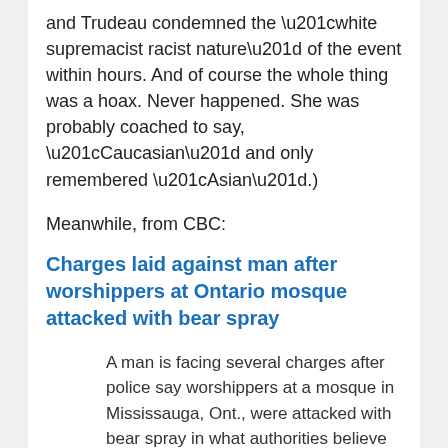and Trudeau condemned the “white supremacist racist nature” of the event within hours. And of course the whole thing was a hoax. Never happened. She was probably coached to say, “Caucasian” and only remembered “Asian”.)
Meanwhile, from CBC:
Charges laid against man after worshippers at Ontario mosque attacked with bear spray
A man is facing several charges after police say worshippers at a mosque in Mississauga, Ont., were attacked with bear spray in what authorities believe was a “hate-motivated incident.”